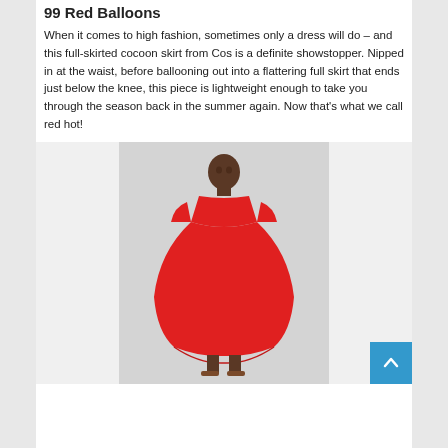99 Red Balloons
When it comes to high fashion, sometimes only a dress will do – and this full-skirted cocoon skirt from Cos is a definite showstopper. Nipped in at the waist, before ballooning out into a flattering full skirt that ends just below the knee, this piece is lightweight enough to take you through the season back in the summer again. Now that's what we call red hot!
[Figure (photo): A woman wearing a red cocoon-skirt dress with short sleeves, nipped waist, and full skirt ending below the knee, standing against a light grey background, wearing brown sandals.]